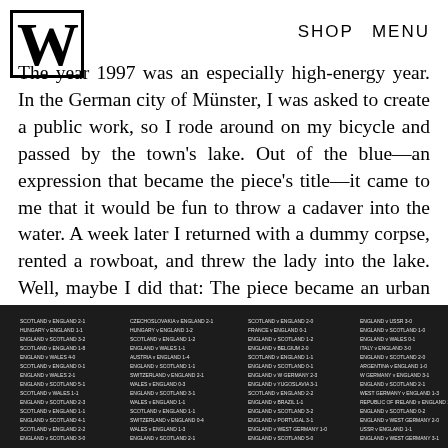W   SHOP   MENU
The year 1997 was an especially high-energy year. In the German city of Münster, I was asked to create a public work, so I rode around on my bicycle and passed by the town's lake. Out of the blue—an expression that became the piece's title—it came to me that it would be fun to throw a cadaver into the water. A week later I returned with a dummy corpse, rented a rowboat, and threw the lady into the lake. Well, maybe I did that: The piece became an urban legend, and nobody was sure the corpse actually existed, though many visitors grabbed boats and hunted for it.
[Figure (photo): Black and white photo of a scoreboard or placard with multiple columns of small white text listing what appear to be sports match results (e.g. Scotland v England) against a dark background.]